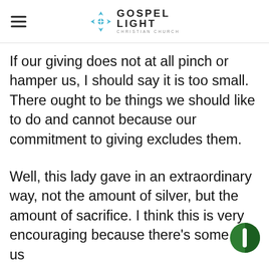Gospel Light Christian Church
If our giving does not at all pinch or hamper us, I should say it is too small. There ought to be things we should like to do and cannot because our commitment to giving excludes them.
Well, this lady gave in an extraordinary way, not the amount of silver, but the amount of sacrifice. I think this is very encouraging because there's some of us who think that...